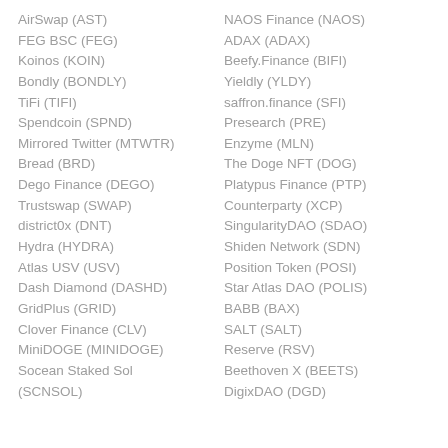AirSwap (AST)
FEG BSC (FEG)
Koinos (KOIN)
Bondly (BONDLY)
TiFi (TIFI)
Spendcoin (SPND)
Mirrored Twitter (MTWTR)
Bread (BRD)
Dego Finance (DEGO)
Trustswap (SWAP)
district0x (DNT)
Hydra (HYDRA)
Atlas USV (USV)
Dash Diamond (DASHD)
GridPlus (GRID)
Clover Finance (CLV)
MiniDOGE (MINIDOGE)
Socean Staked Sol (SCNSOL)
NAOS Finance (NAOS)
ADAX (ADAX)
Beefy.Finance (BIFI)
Yieldly (YLDY)
saffron.finance (SFI)
Presearch (PRE)
Enzyme (MLN)
The Doge NFT (DOG)
Platypus Finance (PTP)
Counterparty (XCP)
SingularityDAO (SDAO)
Shiden Network (SDN)
Position Token (POSI)
Star Atlas DAO (POLIS)
BABB (BAX)
SALT (SALT)
Reserve (RSV)
Beethoven X (BEETS)
DigixDAO (DGD)